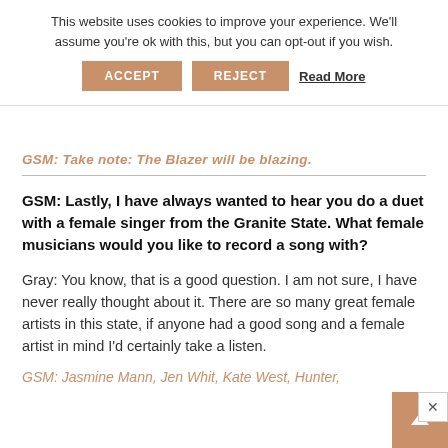This website uses cookies to improve your experience. We'll assume you're ok with this, but you can opt-out if you wish. ACCEPT REJECT Read More
GSM: Take note: The Blazer will be blazing.
GSM: Lastly, I have always wanted to hear you do a duet with a female singer from the Granite State. What female musicians would you like to record a song with?
Gray: You know, that is a good question. I am not sure, I have never really thought about it. There are so many great female artists in this state, if anyone had a good song and a female artist in mind I'd certainly take a listen.
GSM: Jasmine Mann, Jen Whit, Kate West, Hunter,